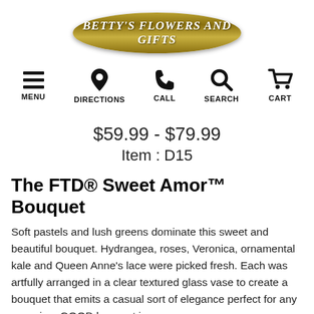[Figure (logo): Betty's Flowers and Gifts logo — gold oval with italic white text]
MENU   DIRECTIONS   CALL   SEARCH   CART
$59.99 - $79.99
Item : D15
The FTD® Sweet Amor™ Bouquet
Soft pastels and lush greens dominate this sweet and beautiful bouquet. Hydrangea, roses, Veronica, ornamental kale and Queen Anne's lace were picked fresh. Each was artfully arranged in a clear textured glass vase to create a bouquet that emits a casual sort of elegance perfect for any occasion. GOOD bouquet is…